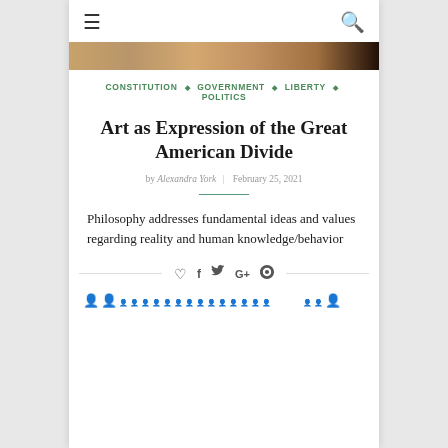☰  🔍
[Figure (photo): Partial hero image showing people/crowd scene in warm tones]
CONSTITUTION ◇ GOVERNMENT ◇ LIBERTY ◇ POLITICS
Art as Expression of the Great American Divide
by Alexandra York | February 25, 2021
Philosophy addresses fundamental ideas and values regarding reality and human knowledge/behavior
[Figure (infographic): Social sharing icons: heart, facebook, twitter, google+, pinterest]
[Figure (infographic): Row of small red and blue person icons representing a divided population]